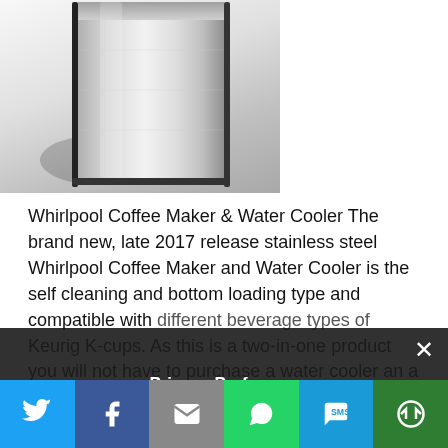[Figure (photo): Stainless steel Whirlpool Coffee Maker and Water Cooler appliance, bottom portion visible against white/grey gradient background]
Whirlpool Coffee Maker & Water Cooler The brand new, late 2017 release stainless steel Whirlpool Coffee Maker and Water Cooler is the self cleaning and bottom loading type and compatible with different beverage types of Keurig K-cups. As this is a two-in-one product you will not have to purchase a water cooler an a coffee... Read more
Privacy Preferences
[Figure (screenshot): Social sharing bar with Twitter, Facebook, Email, WhatsApp, SMS, and More buttons]